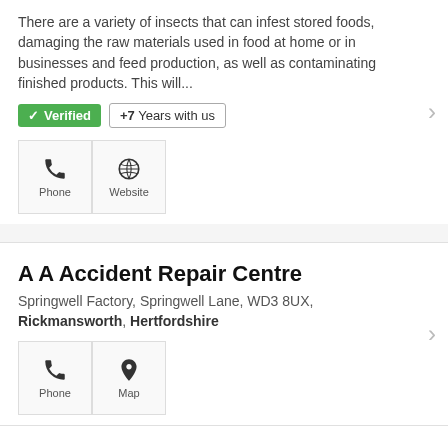There are a variety of insects that can infest stored foods, damaging the raw materials used in food at home or in businesses and feed production, as well as contaminating finished products. This will...
✓ Verified   +7 Years with us
Phone   Website
A A Accident Repair Centre
Springwell Factory, Springwell Lane, WD3 8UX, Rickmansworth, Hertfordshire
Phone   Map
Aaron Piano Co
84 Long Lane, WD3 8YG, Rickmansworth, Hertfordshire